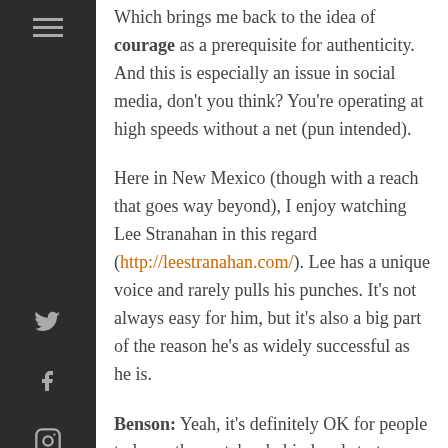Which brings me back to the idea of courage as a prerequisite for authenticity. And this is especially an issue in social media, don't you think? You're operating at high speeds without a net (pun intended).
Here in New Mexico (though with a reach that goes way beyond), I enjoy watching Lee Stranahan in this regard (http://leestranahan.com/). Lee has a unique voice and rarely pulls his punches. It's not always easy for him, but it's also a big part of the reason he's as widely successful as he is.
Benson: Yeah, it's definitely OK for people to leave the crutches behind and start experimenting with new ideas. And you're right that courage is needed, not just in authenticity but also in dealing with